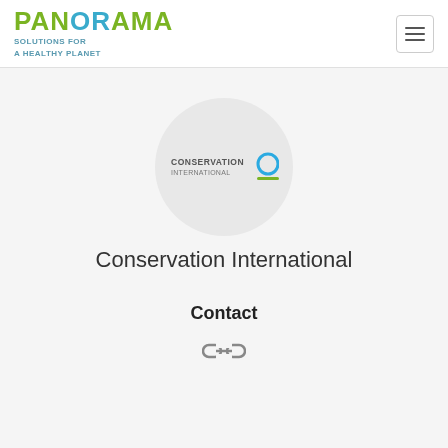[Figure (logo): PANORAMA - Solutions for a Healthy Planet logo with green and blue lettering]
[Figure (logo): Conservation International logo inside a circular grey background: text CONSERVATION INTERNATIONAL with a blue circle and green underline]
Conservation International
Contact
[Figure (other): A chain link / hyperlink icon]